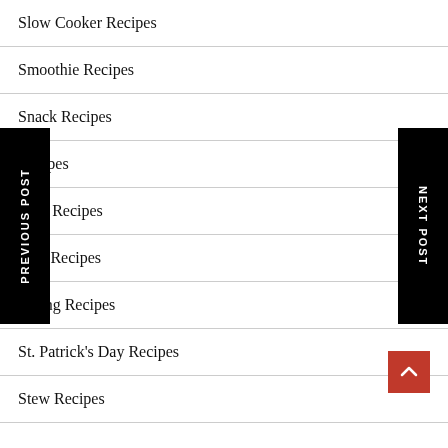Slow Cooker Recipes
Smoothie Recipes
Snack Recipes
Recipes
Vide Recipes
hern Recipes
Spring Recipes
St. Patrick's Day Recipes
Stew Recipes